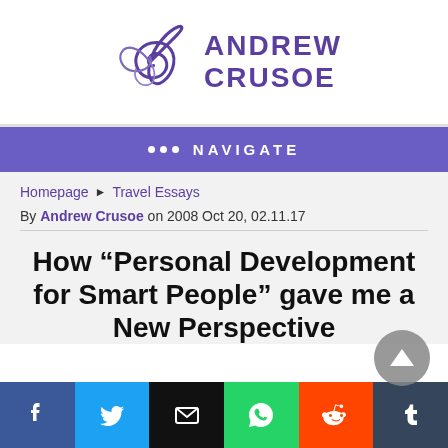[Figure (logo): Andrew Crusoe website logo: purple spiral galaxy icon next to bold purple text 'ANDREW CRUSOE']
••• NAVIGATE
Homepage ▶ Travel Essays
By Andrew Crusoe on 2008 Oct 20, 02.11.17
How “Personal Development for Smart People” gave me a New Perspective